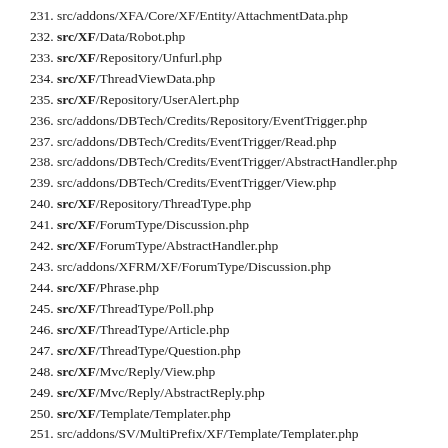231. src/addons/XFA/Core/XF/Entity/AttachmentData.php
232. src/XF/Data/Robot.php
233. src/XF/Repository/Unfurl.php
234. src/XF/ThreadViewData.php
235. src/XF/Repository/UserAlert.php
236. src/addons/DBTech/Credits/Repository/EventTrigger.php
237. src/addons/DBTech/Credits/EventTrigger/Read.php
238. src/addons/DBTech/Credits/EventTrigger/AbstractHandler.php
239. src/addons/DBTech/Credits/EventTrigger/View.php
240. src/XF/Repository/ThreadType.php
241. src/XF/ForumType/Discussion.php
242. src/XF/ForumType/AbstractHandler.php
243. src/addons/XFRM/XF/ForumType/Discussion.php
244. src/XF/Phrase.php
245. src/XF/ThreadType/Poll.php
246. src/XF/ThreadType/Article.php
247. src/XF/ThreadType/Question.php
248. src/XF/Mvc/Reply/View.php
249. src/XF/Mvc/Reply/AbstractReply.php
250. src/XF/Template/Templater.php
251. src/addons/SV/MultiPrefix/XF/Template/Templater.php
252. src/addons/AL/ResourceFilter/XF/Template/Templater.php
253. src/addons/MaZ/AMP/XF/Template/Templater.php
254. src/addons/xenMade/TPM/XF/Template/Templater.php
255. src/addons/SV/ConversationEssentials/XF/Template/Template